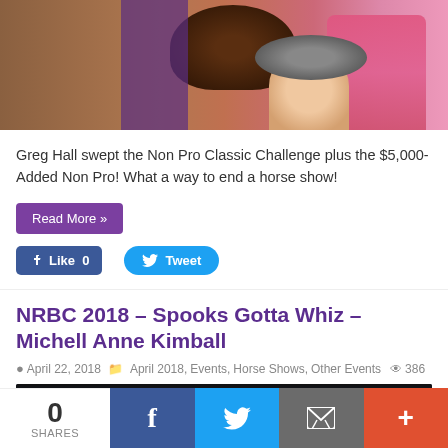[Figure (photo): Photo of horse with saddle and person in pink shirt at a horse show]
Greg Hall swept the Non Pro Classic Challenge plus the $5,000-Added Non Pro! What a way to end a horse show!
Read More »
Like 0
Tweet
NRBC 2018 – Spooks Gotta Whiz – Michell Anne Kimball
April 22, 2018   April 2018, Events, Horse Shows, Other Events   386
[Figure (photo): Photo of two women at an indoor equestrian arena with overhead lights]
0 SHARES
f
Tweet
Email
+